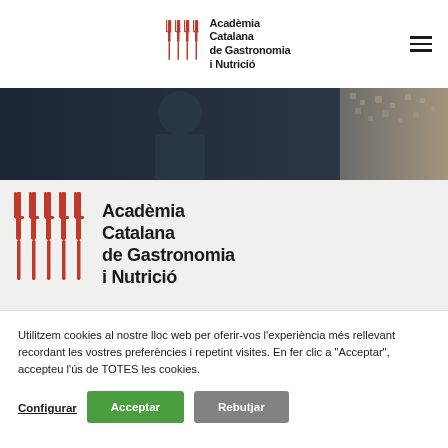Acadèmia Catalana de Gastronomia i Nutrició
[Figure (photo): Dark hero image showing a person in chef or formal attire on the left and a textured grain/food material on the right]
[Figure (logo): Acadèmia Catalana de Gastronomia i Nutrició logo — red fork icons and bold text — large version in light gray section]
Utilitzem cookies al nostre lloc web per oferir-vos l'experiència més rellevant recordant les vostres preferències i repetint visites. En fer clic a "Acceptar", accepteu l'ús de TOTES les cookies.
Configurar
Acceptar
Rebutjar